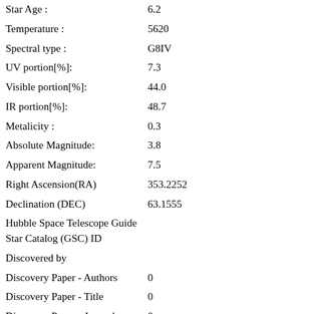| Star Age : | 6.2 |
| Temperature : | 5620 |
| Spectral type : | G8IV |
| UV portion[%]: | 7.3 |
| Visible portion[%]: | 44.0 |
| IR portion[%]: | 48.7 |
| Metalicity : | 0.3 |
| Absolute Magnitude: | 3.8 |
| Apparent Magnitude: | 7.5 |
| Right Ascension(RA) | 353.2252 |
| Declination (DEC) | 63.1555 |
| Hubble Space Telescope Guide Star Catalog (GSC) ID |  |
| Discovered by |  |
| Discovery Paper - Authors | 0 |
| Discovery Paper - Title | 0 |
| Discovery Paper - Journal | 0 |
| Discovery Paper - URL | 0 |
| SIMBAD LINK | http://simbad.u-strasbg.fr/simbad/sim-b&Ident=HD+221585+&submit=SIMBA |